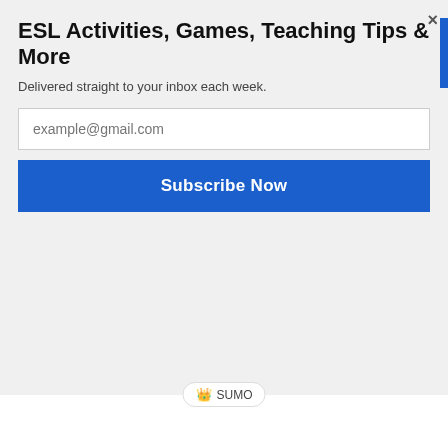ESL Activities, Games, Teaching Tips & More
Delivered straight to your inbox each week.
example@gmail.com
Subscribe Now
[Figure (screenshot): SUMO badge/widget logo]
impossible. A reasonable goal is that everyone can have a chance to play at least once in a round. But then people will start to drop off after that.
Circle Game Rules